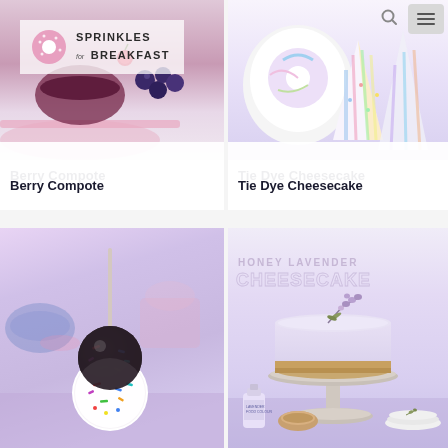[Figure (screenshot): Website screenshot of 'Sprinkles for Breakfast' food blog showing a 2x2 grid of recipe cards. Top left: Berry Compote with pink donut logo and blueberries. Top right: Tie Dye Cheesecake with colorful triangular slices and navigation icons. Bottom left: Cake pop on a stick with sprinkles. Bottom right: Honey Lavender Cheesecake on a pedestal stand.]
Berry Compote
Tie Dye Cheesecake
HONEY LAVENDER CHEESECAKE